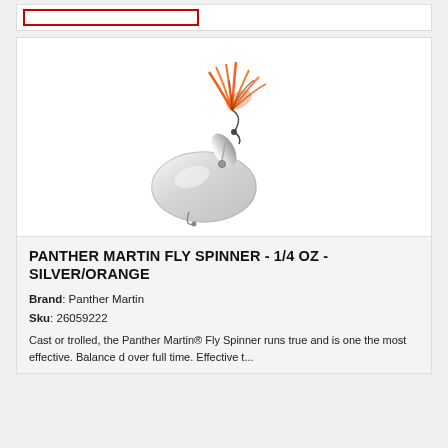[Figure (photo): A Panther Martin Fly Spinner fishing lure with a silver oval spinner blade and orange feathered fly hook on a white background.]
PANTHER MARTIN FLY SPINNER - 1/4 OZ - SILVER/ORANGE
Brand: Panther Martin
Sku: 26059222
Cast or trolled, the Panther Martin® Fly Spinner runs true and is one the most effective. Balance d over full time. Effective t...